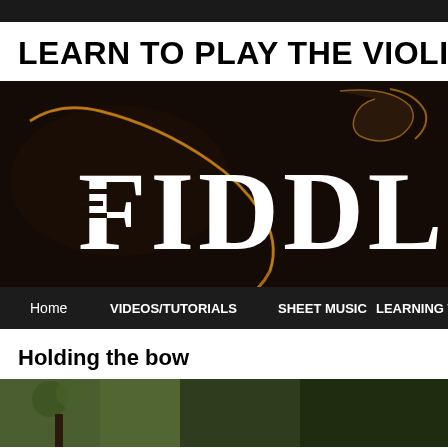LEARN TO PLAY THE VIOLIN F
[Figure (screenshot): Dark banner image showing a violin silhouette with golden rim light against a dark brown/black background. Large white serif text reading 'FIDDLE' overlaid on the image. Navigation bar below with items: Home, VIDEOS/TUTORIALS, SHEET MUSIC, LEARNING TOO...]
Holding the bow
[Figure (photo): Partial photo at bottom of page showing what appears to be an outdoor scene, partially cut off]